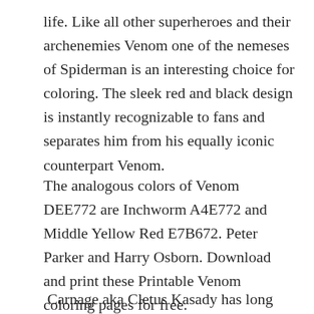life. Like all other superheroes and their archenemies Venom one of the nemeses of Spiderman is an interesting choice for coloring. The sleek red and black design is instantly recognizable to fans and separates him from his equally iconic counterpart Venom.
The analogous colors of Venom DEE772 are Inchworm A4E772 and Middle Yellow Red E7B672. Peter Parker and Harry Osborn. Download and print these Printable Venom coloring pages for free.
Carnage aka Cletus Kasady has long been